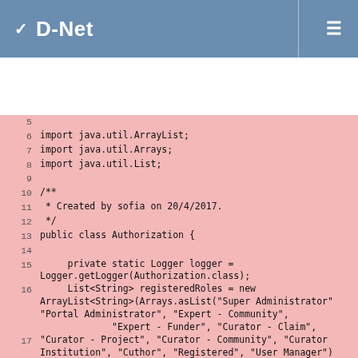D-Net
[Figure (screenshot): Java source code editor view showing lines 5-23 of Authorization.java file with pink/salmon background. Lines include import statements, Javadoc comment, public class declaration, and field initializations for Logger, registeredRoles, adminRoles, projectCuratorRoles, userHandler, originServer, and a commented-out method signature.]